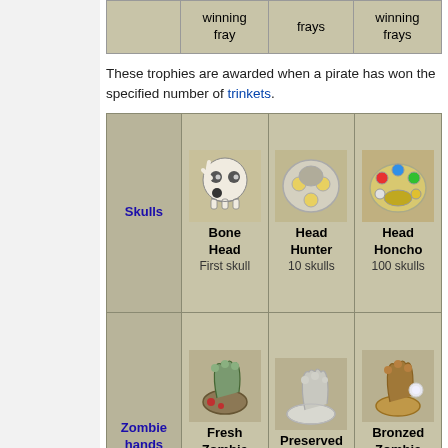|  | winning fray | frays | winning frays |
| --- | --- | --- | --- |
These trophies are awarded when a pirate has won the specified number of trinkets.
|  | Bone Head / First skull | Head Hunter / 10 skulls | Head Honcho / 100 skulls |
| --- | --- | --- | --- |
| Skulls | Bone Head
First skull | Head Hunter
10 skulls | Head Honcho
100 skulls |
| Zombie hands | Fresh Zombie Hand
First zombie hand | Preserved Zombie Hand
10 zombie hands | Bronzed Zombie Hand
100 zombie hands |
Pillaging